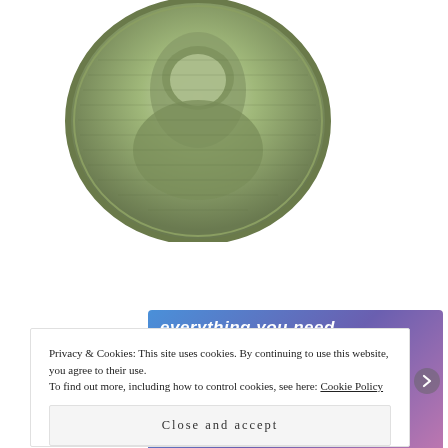[Figure (photo): Close-up cropped image of a portrait engraving on a US dollar bill, showing a historical figure in a circular frame with green-tinted engraving style.]
[Figure (screenshot): Advertisement banner with blue-to-purple gradient background. Text reads 'everything you need.' in white bold italic. A pink button says 'Build Your Website'. A tan/beige price tag icon is on the right side.]
Privacy & Cookies: This site uses cookies. By continuing to use this website, you agree to their use.
To find out more, including how to control cookies, see here: Cookie Policy
Close and accept